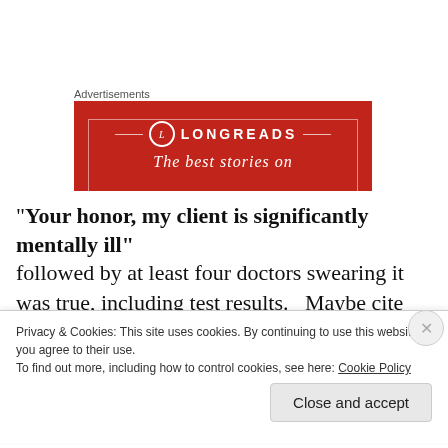Advertisements
[Figure (logo): Longreads advertisement banner with red background, circular L logo, brand name LONGREADS, and tagline 'The best stories on']
“Your honor, my client is significantly mentally ill” followed by at least four doctors swearing it was true, including test results.   Maybe cite other examples, to
Privacy & Cookies: This site uses cookies. By continuing to use this website, you agree to their use.
To find out more, including how to control cookies, see here: Cookie Policy
Close and accept